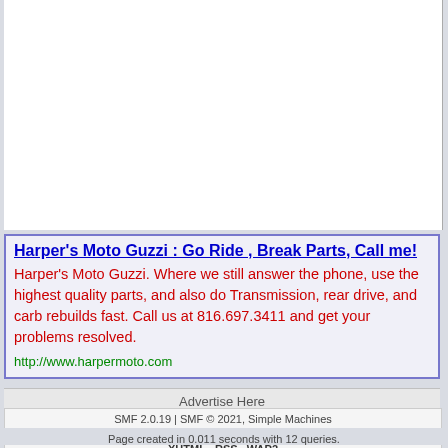[Figure (other): White blank content area, main forum content region above the ad]
Harper's Moto Guzzi : Go Ride , Break Parts, Call me!
Harper's Moto Guzzi. Where we still answer the phone, use the highest quality parts, and also do Transmission, rear drive, and carb rebuilds fast. Call us at 816.697.3411 and get your problems resolved.
http://www.harpermoto.com
Advertise Here
SMF 2.0.19 | SMF © 2021, Simple Machines
SMFAds for Free Forums
XHTML   RSS   WAP2
Page created in 0.011 seconds with 12 queries.